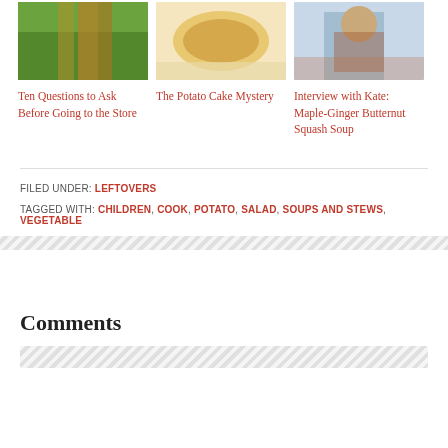[Figure (photo): Three food/lifestyle blog post thumbnails: vegetables/carrots, potato cake, and child cooking]
Ten Questions to Ask Before Going to the Store
The Potato Cake Mystery
Interview with Kate: Maple-Ginger Butternut Squash Soup
FILED UNDER: LEFTOVERS
TAGGED WITH: CHILDREN, COOK, POTATO, SALAD, SOUPS AND STEWS, VEGETABLE
Comments